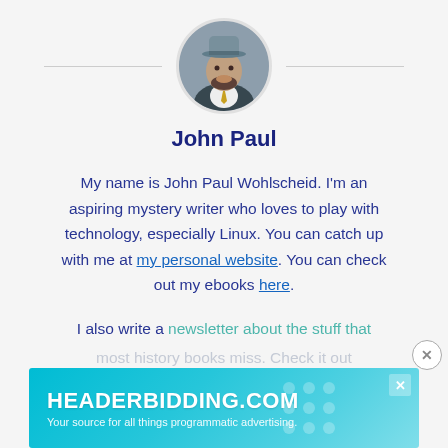[Figure (photo): Circular profile photo of John Paul Wohlscheid, a man wearing a grey hat, suit jacket, and tie, with a beard.]
John Paul
My name is John Paul Wohlscheid. I'm an aspiring mystery writer who loves to play with technology, especially Linux. You can catch up with me at my personal website. You can check out my ebooks here.
I also write a newsletter about the stuff that most history books miss. Check it out
[Figure (screenshot): Advertisement banner for HEADERBIDDING.COM with tagline 'Your source for all things programmatic advertising.' on a teal/cyan gradient background.]